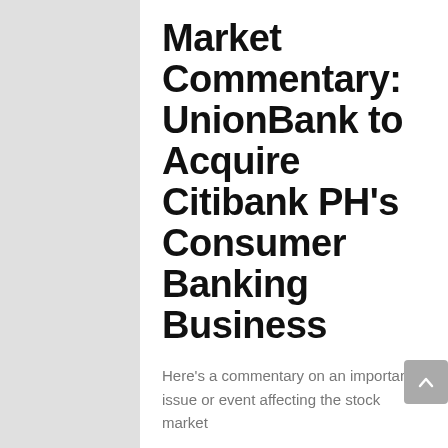Market Commentary: UnionBank to Acquire Citibank PH's Consumer Banking Business
Here's a commentary on an important issue or event affecting the stock market
26 DEC 2021
By AP Securities (Formerly Angping & Associates Securities)
Market Commentary: